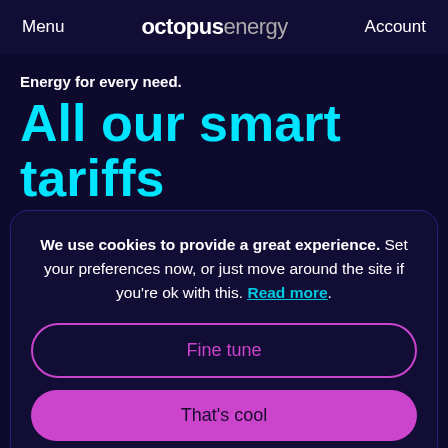Menu  octopus energy  Account
Energy for every need.
All our smart tariffs feature 100%
We use cookies to provide a great experience. Set your preferences now, or just move around the site if you're ok with this. Read more.
Fine tune
That's cool